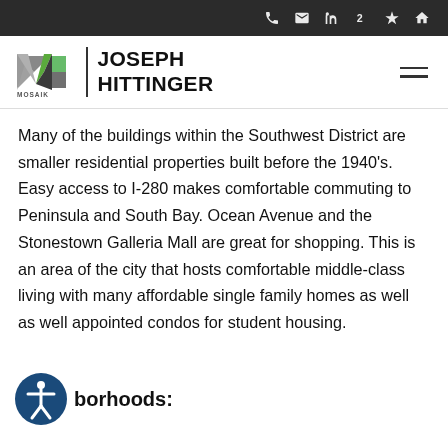Navigation icons: phone, email, LinkedIn, 2, Yelp, home
[Figure (logo): Mosaik Real Estate logo with MK icon and Joseph Hittinger agent name]
Many of the buildings within the Southwest District are smaller residential properties built before the 1940's. Easy access to I-280 makes comfortable commuting to Peninsula and South Bay. Ocean Avenue and the Stonestown Galleria Mall are great for shopping. This is an area of the city that hosts comfortable middle-class living with many affordable single family homes as well as well appointed condos for student housing.
borhoods:
(partial bottom line of text cut off)